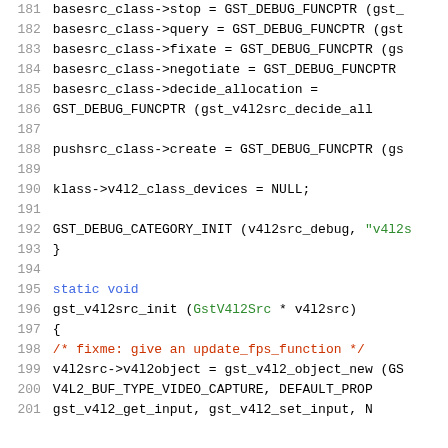[Figure (screenshot): Source code listing in monospace font showing C code for GStreamer plugin initialization, lines 181-201, with syntax highlighting: line numbers in gray, keywords in blue, strings in green, comments in red/orange.]